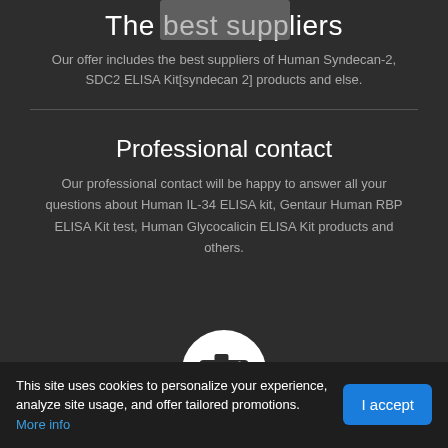The best suppliers
Our offer includes the best suppliers of Human Syndecan-2, SDC2 ELISA Kit[syndecan 2] products and else.
Professional contact
Our professional contact will be happy to answer all your questions about Human IL-34 ELISA kit, Gentaur Human RBP ELISA Kit test, Human Glycocalicin ELISA Kit products and others.
[Figure (illustration): White circle with a camera icon in the center on dark background]
This site uses cookies to personalize your experience, analyze site usage, and offer tailored promotions. More info